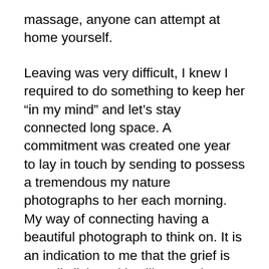massage, anyone can attempt at home yourself.
Leaving was very difficult, I knew I required to do something to keep her “in my mind” and let’s stay connected long space. A commitment was created one year to lay in touch by sending to possess a tremendous my nature photographs to her each morning. My way of connecting having a beautiful photograph to think on. It is an indication to me that the grief is actually living with will not end soon and I will be respectful of that will be there to listen as she regains her footing and continues her lifetime without her husband.
Once we have brought you in on the